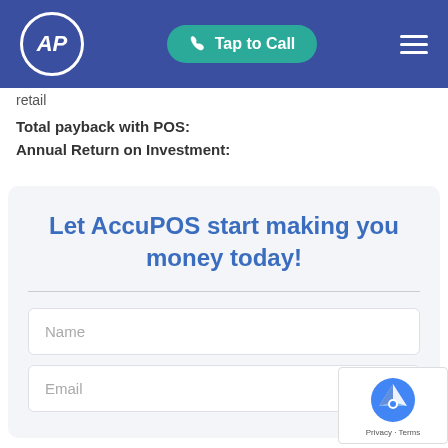AP | Tap to Call | Menu
retail
Total payback with POS:
Annual Return on Investment:
Let AccuPOS start making you money today!
Name
Email